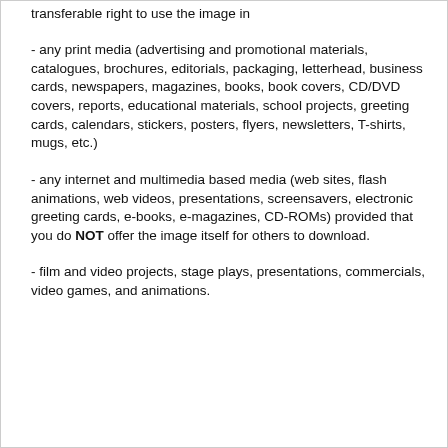transferable right to use the image in
- any print media (advertising and promotional materials, catalogues, brochures, editorials, packaging, letterhead, business cards, newspapers, magazines, books, book covers, CD/DVD covers, reports, educational materials, school projects, greeting cards, calendars, stickers, posters, flyers, newsletters, T-shirts, mugs, etc.)
- any internet and multimedia based media (web sites, flash animations, web videos, presentations, screensavers, electronic greeting cards, e-books, e-magazines, CD-ROMs) provided that you do NOT offer the image itself for others to download.
- film and video projects, stage plays, presentations, commercials, video games, and animations.